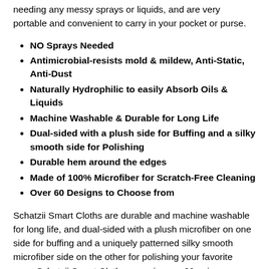needing any messy sprays or liquids, and are very portable and convenient to carry in your pocket or purse.
NO Sprays Needed
Antimicrobial-resists mold & mildew, Anti-Static, Anti-Dust
Naturally Hydrophilic to easily Absorb Oils & Liquids
Machine Washable & Durable for Long Life
Dual-sided with a plush side for Buffing and a silky smooth side for Polishing
Durable hem around the edges
Made of 100% Microfiber for Scratch-Free Cleaning
Over 60 Designs to Choose from
Schatzii Smart Cloths are durable and machine washable for long life, and dual-sided with a plush microfiber on one side for buffing and a uniquely patterned silky smooth microfiber side on the other for polishing your favorite gear. Schatzii Smart Cloths come in over 60 unique